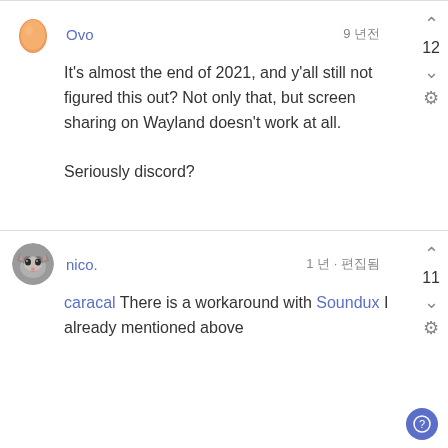Ovo  9 년전  Vote: 12
It's almost the end of 2021, and y'all still not figured this out? Not only that, but screen sharing on Wayland doesn't work at all.

Seriously discord?
nico.  1 년  ·  편집됨  Vote: 11
caracal There is a workaround with Soundux I already mentioned above